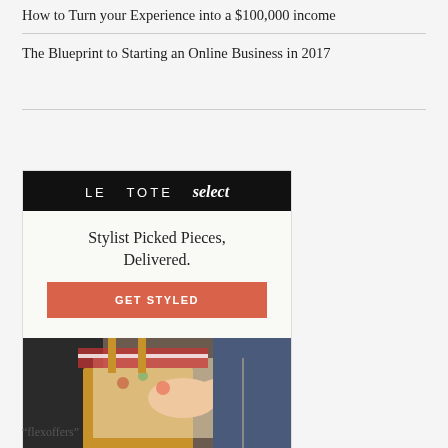How to Turn your Experience into a $100,000 income
The Blueprint to Starting an Online Business in 2017
[Figure (infographic): Le Tote Select advertisement: black header with 'LE TOTE select' text, white body with tagline 'Stylist Picked Pieces, Delivered.' and a salmon-colored 'GET STYLED' button, followed by a photo of hands holding clothing items.]
“flexoffers”